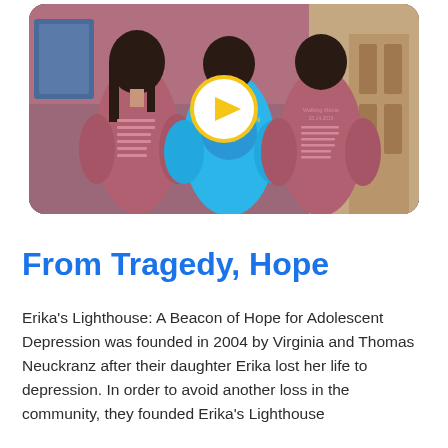[Figure (photo): Three people viewed from behind wearing event t-shirts — center person in bright blue shirt with 'Get Depression Out of the Way' text, flanked by two people in mauve/pink shirts. A yellow circular play button overlay is centered on the image, indicating a video thumbnail.]
From Tragedy, Hope
Erika's Lighthouse: A Beacon of Hope for Adolescent Depression was founded in 2004 by Virginia and Thomas Neuckranz after their daughter Erika lost her life to depression. In order to avoid another loss in the community, they founded Erika's Lighthouse